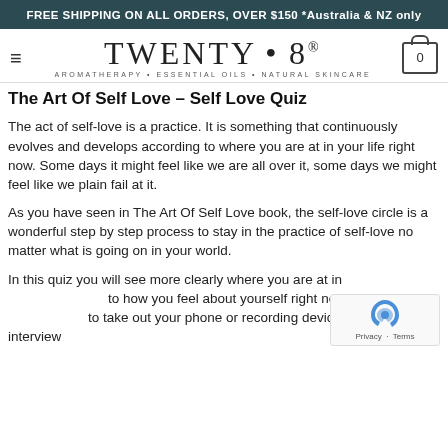FREE SHIPPING ON ALL ORDERS, OVER $150 *Australia & NZ only
[Figure (logo): Twenty·8 Aromatherapy Essential Oils Natural Skincare logo with hamburger menu icon on left and cart icon on right]
The Art Of Self Love – Self Love Quiz
The act of self-love is a practice. It is something that continuously evolves and develops according to where you are at in your life right now. Some days it might feel like we are all over it, some days we might feel like we plain fail at it.
As you have seen in The Art Of Self Love book, the self-love circle is a wonderful step by step process to stay in the practice of self-love no matter what is going on in your world.
In this quiz you will see more clearly where you are at in to how you feel about yourself right now. I would encou to take out your phone or recording device and actually interview